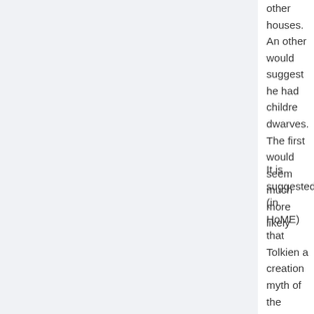other houses. An other would suggest he had children with dwarves. The first would seem much more likely
It is suggested (in HoME) that Tolkien a creation myth of the dwarves, as he wa on having many more dwarves created creation myth as it stands however, I be made most sense: Durin the Deathless the Lords of the other houses. Obvious dwarves must have had many more chi norm in the 3rd age, as their numbers w Also the fact that only 1 out of 3 would they would have needed at least more otherwise the dwarves would not have answer your question, this in fact is rel currently, so more on that in later post